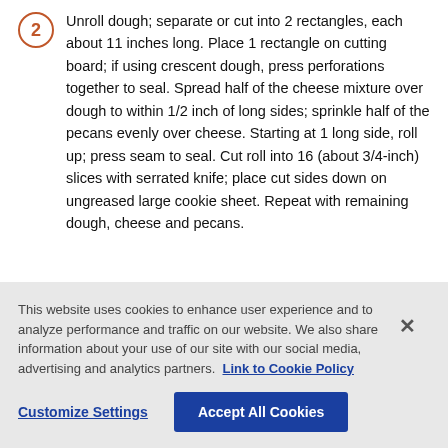Unroll dough; separate or cut into 2 rectangles, each about 11 inches long. Place 1 rectangle on cutting board; if using crescent dough, press perforations together to seal. Spread half of the cheese mixture over dough to within 1/2 inch of long sides; sprinkle half of the pecans evenly over cheese. Starting at 1 long side, roll up; press seam to seal. Cut roll into 16 (about 3/4-inch) slices with serrated knife; place cut sides down on ungreased large cookie sheet. Repeat with remaining dough, cheese and pecans.
This website uses cookies to enhance user experience and to analyze performance and traffic on our website. We also share information about your use of our site with our social media, advertising and analytics partners. Link to Cookie Policy